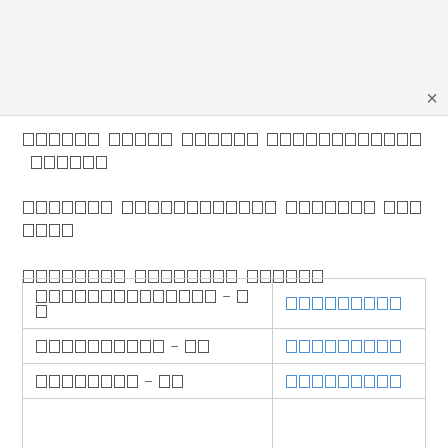[Thai text - redacted placeholder characters displayed as boxes]
| [Thai text] – [xx] | [Thai link text] |
| [Thai text] – [xx] | [Thai link text] |
| [Thai text] – [xx] | [Thai link text] |